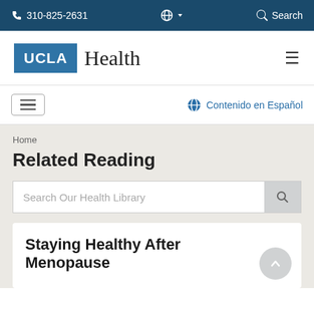310-825-2631   Search
[Figure (logo): UCLA Health logo with blue UCLA box and serif Health text]
Contenido en Español
Home
Related Reading
Search Our Health Library
Staying Healthy After Menopause